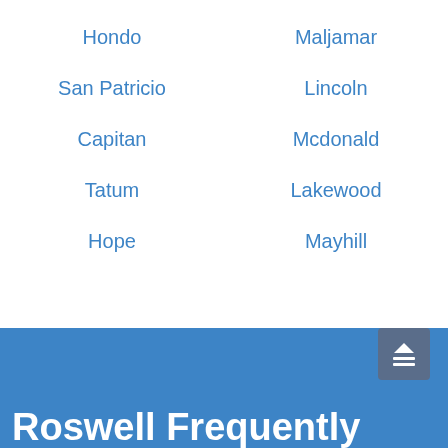Hondo
Maljamar
San Patricio
Lincoln
Capitan
Mcdonald
Tatum
Lakewood
Hope
Mayhill
Roswell Frequently